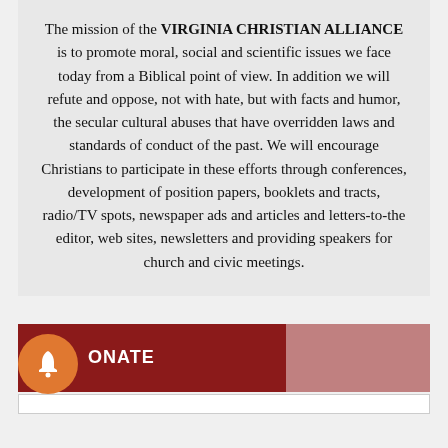The mission of the VIRGINIA CHRISTIAN ALLIANCE is to promote moral, social and scientific issues we face today from a Biblical point of view. In addition we will refute and oppose, not with hate, but with facts and humor, the secular cultural abuses that have overridden laws and standards of conduct of the past. We will encourage Christians to participate in these efforts through conferences, development of position papers, booklets and tracts, radio/TV spots, newspaper ads and articles and letters-to-the editor, web sites, newsletters and providing speakers for church and civic meetings.
DONATE